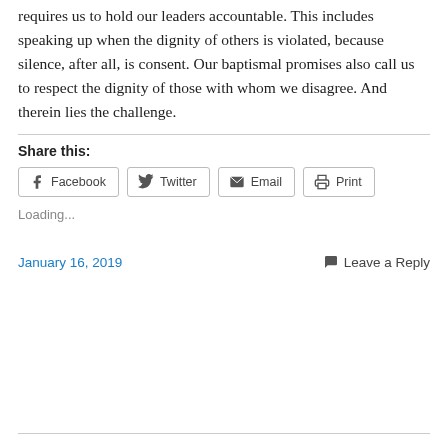requires us to hold our leaders accountable. This includes speaking up when the dignity of others is violated, because silence, after all, is consent. Our baptismal promises also call us to respect the dignity of those with whom we disagree. And therein lies the challenge.
Share this:
Facebook  Twitter  Email  Print
Loading...
January 16, 2019
Leave a Reply